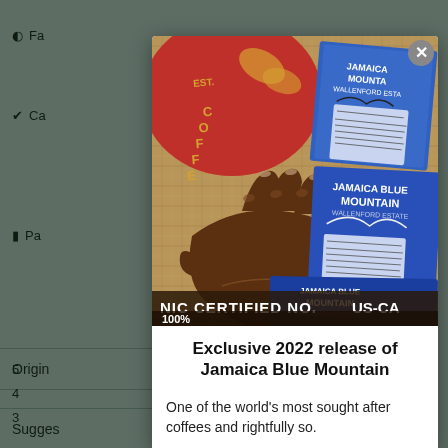[Figure (photo): Modal popup showing a photo of a hand holding Jamaica Blue Mountain coffee packaging labels against a burlap coffee sack background. The labels read 'Jamaica Blue Mountain, Wallenford Estate'. A close (X) button appears in the top-right corner of the modal.]
Exclusive 2022 release of Jamaica Blue Mountain
One of the world's most sought after coffees and rightfully so.